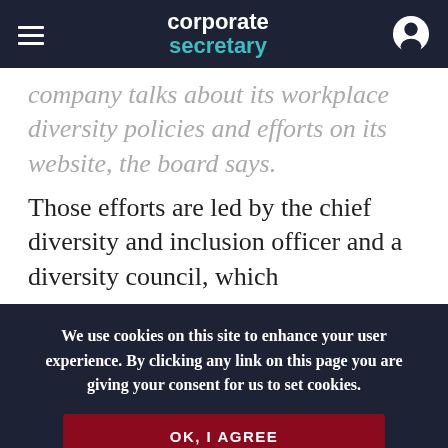corporate secretary
company talks about its workplace diversity policies and efforts on its website, the board says.
Those efforts are led by the chief diversity and inclusion officer and a diversity council, which
We use cookies on this site to enhance your user experience. By clicking any link on this page you are giving your consent for us to set cookies.
OK, I AGREE
NO, GIVE ME MORE INFO